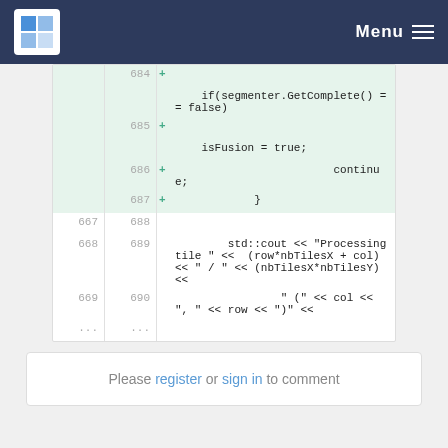Menu
[Figure (screenshot): Code diff view showing lines 684-690 with added lines (green background) containing if(segmenter.GetComplete() == false), isFusion = true;, continue;, closing brace, and unchanged lines with std::cout Processing tile code]
Please register or sign in to comment